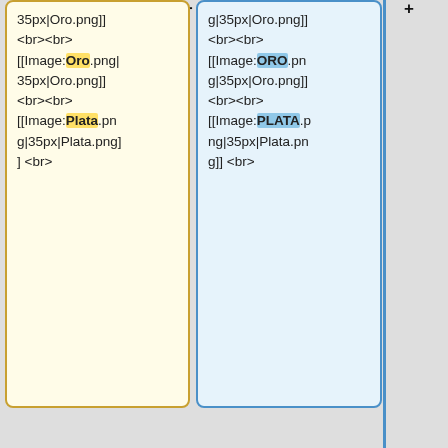[[Image:Oro.png|35px|Oro.png]] <br><br> [[Image:Oro.png|35px|Oro.png]] <br><br> [[Image:Plata.png|35px|Plata.png]] <br>
[[Image:Oro.png|35px|Oro.png]] <br><br> [[Image:ORO.png|35px|Oro.png]] <br><br> [[Image:PLATA.png|35px|Plata.png]] <br>
| style="color: navy; background-color: lightcyan" |
| style="color: navy; background-color: lightcyan" |
|-
|-
| align="center" style="background:#00FFFF;"|'''21-15A'''
| align="center" style="background:#00FFFF;"|'''21-15A'''
| [[Pablo Diaz Vara]]
| [[Pablo Diaz Vara]]